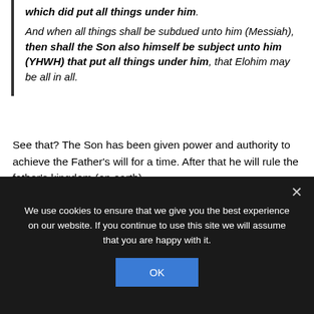which did put all things under him. And when all things shall be subdued unto him (Messiah), then shall the Son also himself be subject unto him (YHWH) that put all things under him, that Elohim may be all in all.
See that? The Son has been given power and authority to achieve the Father’s will for a time. After that he will rule the father’s kingdom (on earth).
The Father is still above him (1 Co 15:27) and the Messiah will never be equal to or above the Father (1 Co 15:28).
We use cookies to ensure that we give you the best experience on our website. If you continue to use this site we will assume that you are happy with it.